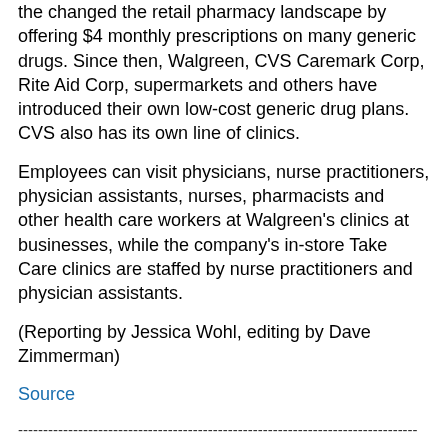the changed the retail pharmacy landscape by offering $4 monthly prescriptions on many generic drugs. Since then, Walgreen, CVS Caremark Corp, Rite Aid Corp, supermarkets and others have introduced their own low-cost generic drug plans. CVS also has its own line of clinics.
Employees can visit physicians, nurse practitioners, physician assistants, nurses, pharmacists and other health care workers at Walgreen's clinics at businesses, while the company's in-store Take Care clinics are staffed by nurse practitioners and physician assistants.
(Reporting by Jessica Wohl, editing by Dave Zimmerman)
Source
--------------------------------------------------------------------------------
------------
Related Posts:
CVS offers lower-cost fertility medications
By Jessica Wohl CHICAGO (Reuters) - CVS Caremark Corp said on Monday it is offering discounts of about 30 percent on fertility treatments to couples struggling with infertility and high medication costs. The program is aimed at patients who do not have fertility medication health insurance